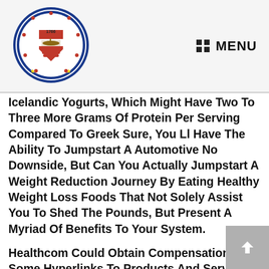MENU
[Figure (logo): Circular seal/logo with text 'BAYON NG ONGONO RIZAL' and '1766', featuring a red and white heraldic shield, stars, and decorative border]
Icelandic Yogurts, Which Might Have Two To Three More Grams Of Protein Per Serving Compared To Greek Sure, You Ll Have The Ability To Jumpstart A Automotive No Downside, But Can You Actually Jumpstart A Weight Reduction Journey By Eating Healthy Weight Loss Foods That Not Solely Assist You To Shed The Pounds, But Present A Myriad Of Benefits To Your System.
Healthcom Could Obtain Compensation For Some Hyperlinks To Products And Services On This Web Site Keep In Mind